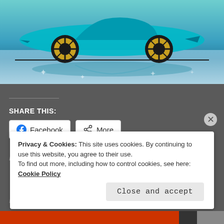[Figure (illustration): Stylized teal/cyan racing car illustration with golden wheel rims, shown with reflection on a blue surface below]
SHARE THIS:
Facebook
More
Loading...
leave a comment
Privacy & Cookies: This site uses cookies. By continuing to use this website, you agree to their use.
To find out more, including how to control cookies, see here: Cookie Policy
Close and accept